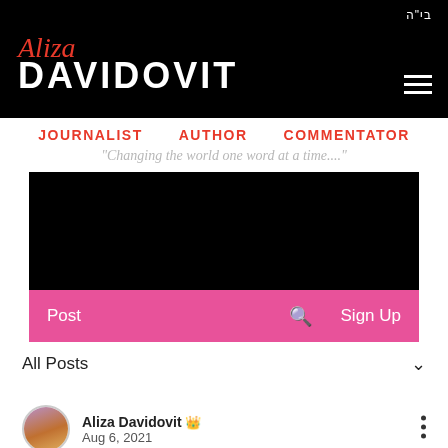בי"ה — Aliza Davidovit — JOURNALIST AUTHOR COMMENTATOR — "Changing the world one word at a time...."
[Figure (screenshot): Black banner area with logo and navigation, pink bar with Post, search, and Sign Up options]
All Posts
Aliza Davidovit 👑 Admin
Aug 6, 2021
DO YOU HAVE WHAT IT